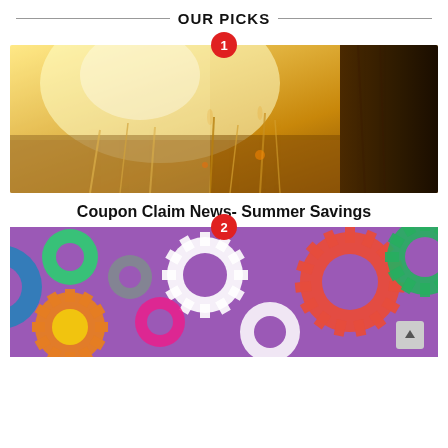OUR PICKS
[Figure (photo): Sunlit grass field with a tree trunk on the right, warm golden light, number badge 1 at top center]
Coupon Claim News- Summer Savings
[Figure (photo): Colorful interlocking gears in multiple colors on purple background, number badge 2 at top center]